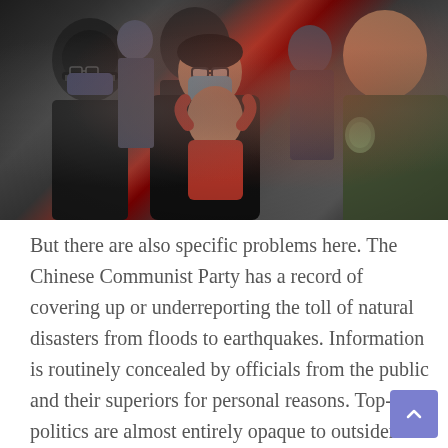[Figure (photo): A woman wearing glasses and a blue face mask holds a child in a red jacket in a crowd. People around her are also wearing masks. A security officer or police officer in an olive/green uniform with a badge is visible on the right side. The scene appears to be outdoors in an urban setting.]
But there are also specific problems here. The Chinese Communist Party has a record of covering up or underreporting the toll of natural disasters from floods to earthquakes. Information is routinely concealed by officials from the public and their superiors for personal reasons. Top-level politics are almost entirely opaque to outsiders even at their most bloody.